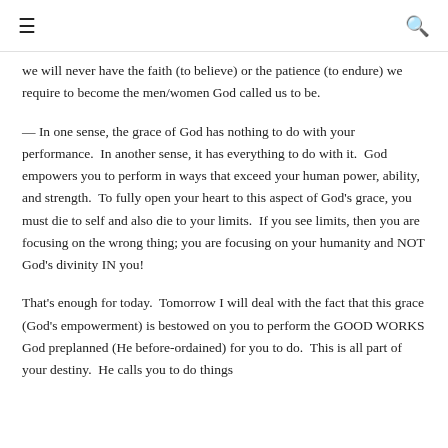≡  🔍
we will never have the faith (to believe) or the patience (to endure) we require to become the men/women God called us to be.
— In one sense, the grace of God has nothing to do with your performance.  In another sense, it has everything to do with it.  God empowers you to perform in ways that exceed your human power, ability, and strength.  To fully open your heart to this aspect of God's grace, you must die to self and also die to your limits.  If you see limits, then you are focusing on the wrong thing; you are focusing on your humanity and NOT God's divinity IN you!
That's enough for today.  Tomorrow I will deal with the fact that this grace (God's empowerment) is bestowed on you to perform the GOOD WORKS God preplanned (He before-ordained) for you to do.  This is all part of your destiny.  He calls you to do things